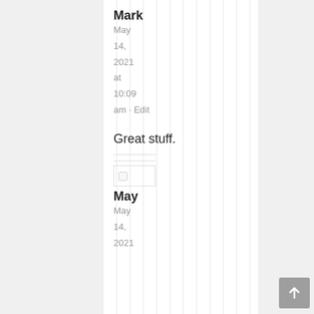Mark
May 14, 2021 at 10:09 am · Edit
Great stuff.
May
May 14, 2021